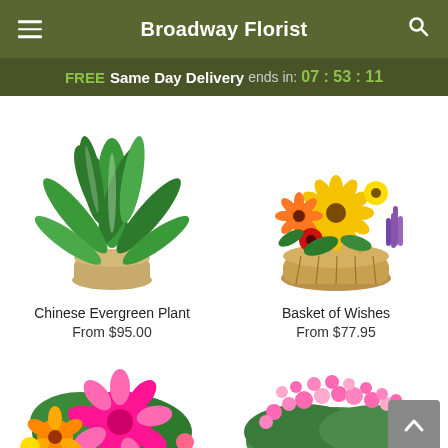Broadway Florist
FREE Same Day Delivery ends in: 07 : 53 : 11
[Figure (photo): Chinese Evergreen Plant in a woven basket]
[Figure (photo): Basket of Wishes floral arrangement with sunflowers, gerberas and purple flowers]
Chinese Evergreen Plant
From $95.00
Basket of Wishes
From $77.95
[Figure (photo): Bright pink and orange flower arrangement (partially visible)]
[Figure (photo): Pink kalanchoe plant arrangement (partially visible)]